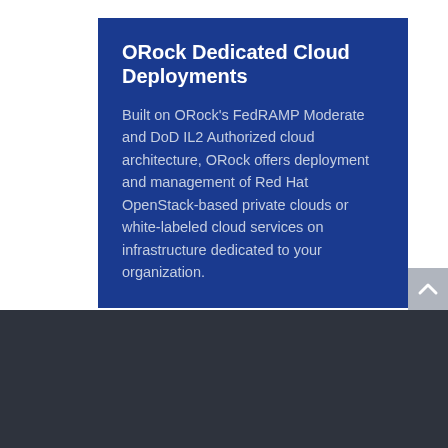ORock Dedicated Cloud Deployments
Built on ORock's FedRAMP Moderate and DoD IL2 Authorized cloud architecture, ORock offers deployment and management of Red Hat OpenStack-based private clouds or white-labeled cloud services on infrastructure dedicated to your organization.